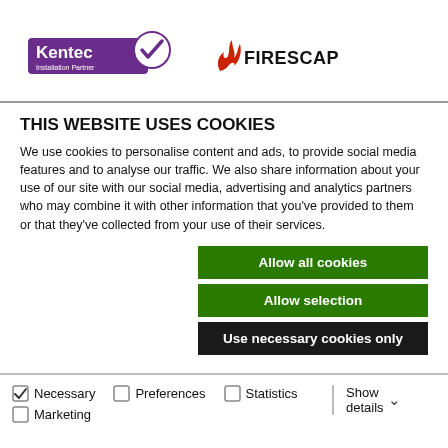[Figure (logo): Kentec Installation Partner logo (purple and white with checkmark) and Firescape logo (red flame icon with black text)]
THIS WEBSITE USES COOKIES
We use cookies to personalise content and ads, to provide social media features and to analyse our traffic. We also share information about your use of our site with our social media, advertising and analytics partners who may combine it with other information that you've provided to them or that they've collected from your use of their services.
Allow all cookies
Allow selection
Use necessary cookies only
Necessary  Preferences  Statistics  Marketing  Show details